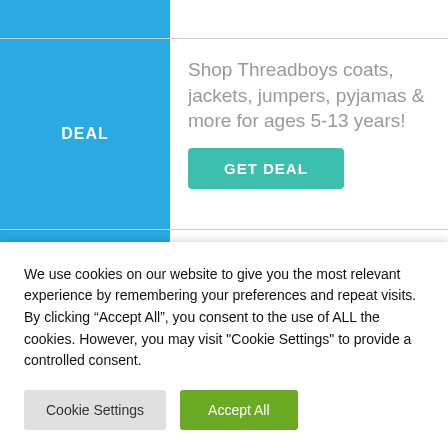DEAL
Shop Threadboys coats, jackets, jumpers, pyjamas & more for ages 5-13 years!
GET DEAL
Shop Threadgirls coats,
We use cookies on our website to give you the most relevant experience by remembering your preferences and repeat visits. By clicking “Accept All”, you consent to the use of ALL the cookies. However, you may visit "Cookie Settings" to provide a controlled consent.
Cookie Settings
Accept All